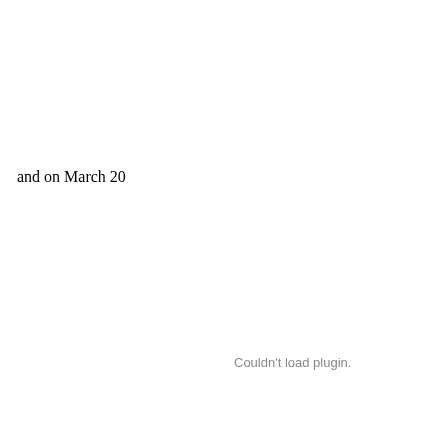and on March 20
Couldn't load plugin.